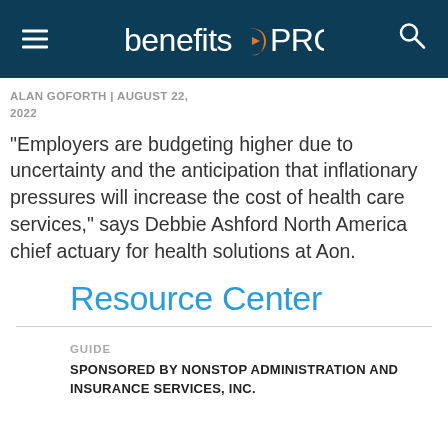benefitsPRO
ALAN GOFORTH | AUGUST 22, 2022
"Employers are budgeting higher due to uncertainty and the anticipation that inflationary pressures will increase the cost of health care services," says Debbie Ashford North America chief actuary for health solutions at Aon.
Resource Center
GUIDE
SPONSORED BY NONSTOP ADMINISTRATION AND INSURANCE SERVICES, INC.